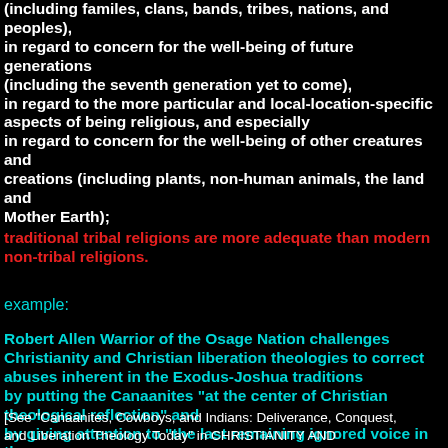(including familes, clans, bands, tribes, nations, and peoples), in regard to concern for the well-being of future generations (including the seventh generation yet to come), in regard to the more particular and local-location-specific aspects of being religious, and especially in regard to concern for the well-being of other creatures and creations (including plants, non-human animals, the land and Mother Earth);
traditional tribal religions are more adequate than modern non-tribal religions.
example:
Robert Allen Warrior of the Osage Nation challenges Christianity and Christian liberation theologies to correct abuses inherent in the Exodus-Joshua traditions by putting the Canaanites "at the center of Christian theological reflection" and by giving attention to "the last remaining ignored voice in the text"--"the land itself" (p. 264)
[See "Canaanites, Cowboys, and Indians: Deliverance, Conquest, and Liberation Theology Today" in CHRISTIANITY AND CRISIS (11 September 1989) by Robert Allen Warrior]